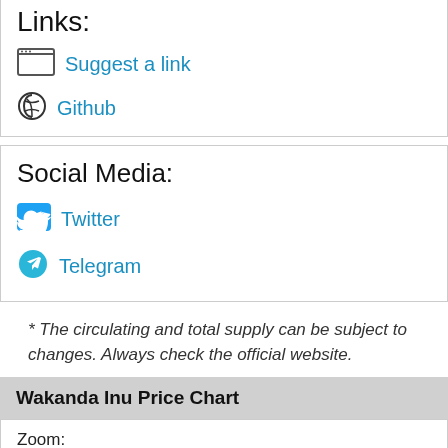Links:
Suggest a link
Github
Social Media:
Twitter
Telegram
* The circulating and total supply can be subject to changes. Always check the official website.
Wakanda Inu Price Chart
Zoom:
1d  7d  30d  1s  1y  YTD